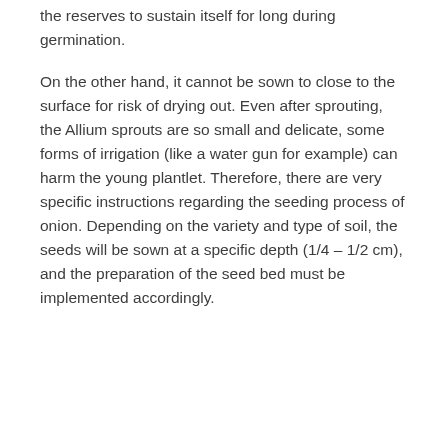the reserves to sustain itself for long during germination.
On the other hand, it cannot be sown to close to the surface for risk of drying out. Even after sprouting, the Allium sprouts are so small and delicate, some forms of irrigation (like a water gun for example) can harm the young plantlet. Therefore, there are very specific instructions regarding the seeding process of onion. Depending on the variety and type of soil, the seeds will be sown at a specific depth (1/4 – 1/2 cm), and the preparation of the seed bed must be implemented accordingly.